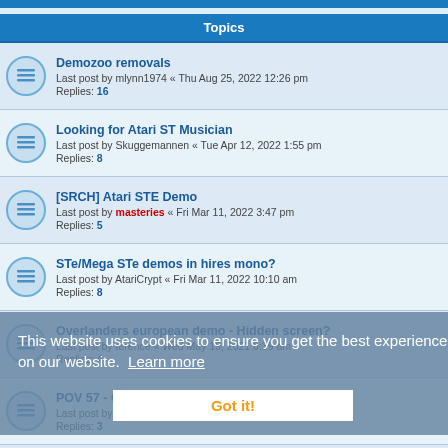Topics
Demozoo removals — Last post by mlynn1974 « Thu Aug 25, 2022 12:26 pm — Replies: 16
Looking for Atari ST Musician — Last post by Skuggemannen « Tue Apr 12, 2022 1:55 pm — Replies: 8
[SRCH] Atari STE Demo — Last post by masteries « Fri Mar 11, 2022 3:47 pm — Replies: 5
STe/Mega STe demos in hires mono? — Last post by AtariCrypt « Fri Mar 11, 2022 10:10 am — Replies: 8
Overlanders european demo - Hidden screen? — Last post by terence « Wed May 19, 2021 6:39 am — Replies: 4
POV 57 - Good image? — Last post by jamesrc « Tue Mar 02, 2021 3:24 am — Replies: 3
Has anyone extracted Stampede 1 and 2 intros? — Last post by mlynn1974 « Fri Jan 29, 2021 9:50 pm — Replies: 12
My lame attempt on a cracker intro — Last post by ThomasI « Sun Nov 15, 2020 7:15 am — Replies: 5
This website uses cookies to ensure you get the best experience on our website. Learn more — Got it!